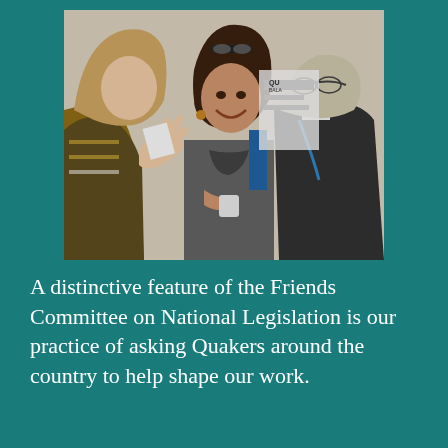[Figure (photo): Three people in conversation at an event: a woman with long wavy hair gesturing with her hands, a smiling woman with dark hair holding papers, and a man in a dark suit with glasses seen from behind.]
A distinctive feature of the Friends Committee on National Legislation is our practice of asking Quakers around the country to help shape our work.